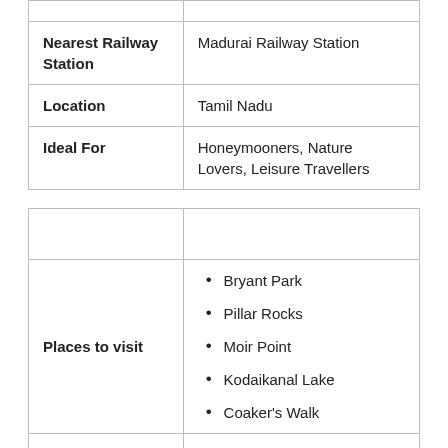|  |  |
| Nearest Railway Station | Madurai Railway Station |
| Location | Tamil Nadu |
| Ideal For | Honeymooners, Nature Lovers, Leisure Travellers |
|  |  |
| Places to visit | Bryant Park
Pillar Rocks
Moir Point
Kodaikanal Lake
Coaker's Walk |
|  |  |